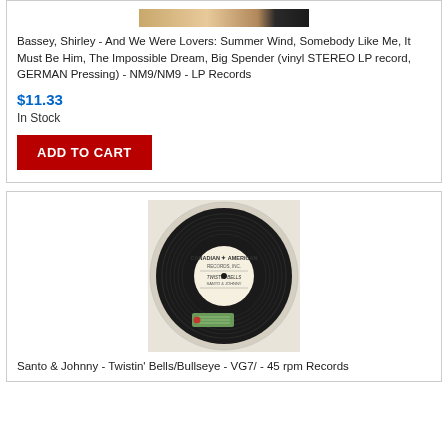[Figure (photo): Partial view of a vinyl record or album cover at the top of the first product card]
Bassey, Shirley - And We Were Lovers: Summer Wind, Somebody Like Me, It Must Be Him, The Impossible Dream, Big Spender (vinyl STEREO LP record, GERMAN Pressing) - NM9/NM9 - LP Records
$11.33
In Stock
ADD TO CART
[Figure (photo): Photo of a Santo & Johnny 45 rpm vinyl record on Canadian American label showing Twistin' Bells/Bullseye with a green label sticker]
Santo & Johnny - Twistin' Bells/Bullseye - VG7/ - 45 rpm Records